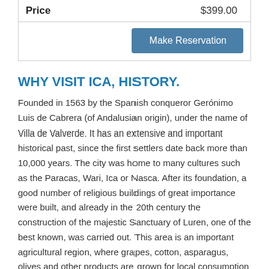| Price | $399.00 |
| --- | --- |
WHY VISIT ICA, HISTORY.
Founded in 1563 by the Spanish conqueror Gerónimo Luis de Cabrera (of Andalusian origin), under the name of Villa de Valverde. It has an extensive and important historical past, since the first settlers date back more than 10,000 years. The city was home to many cultures such as the Paracas, Wari, Ica or Nasca. After its foundation, a good number of religious buildings of great importance were built, and already in the 20th century the construction of the majestic Sanctuary of Luren, one of the best known, was carried out. This area is an important agricultural region, where grapes, cotton, asparagus, olives and other products are grown for local consumption and for export. It is known by Peruvians as the land of the sun, and although the 4 seasons of